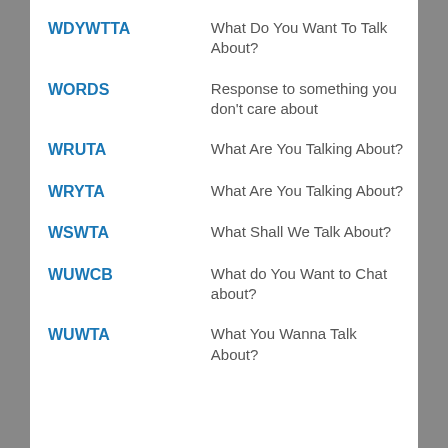| Abbreviation | Meaning |
| --- | --- |
| WDYWTTA | What Do You Want To Talk About? |
| WORDS | Response to something you don't care about |
| WRUTA | What Are You Talking About? |
| WRYTA | What Are You Talking About? |
| WSWTA | What Shall We Talk About? |
| WUWCB | What do You Want to Chat about? |
| WUWTA | What You Wanna Talk About? |